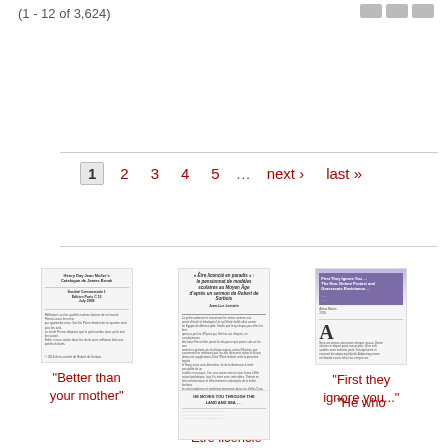(1 - 12 of 3,624)
1  2  3  4  5  ...  next ›  last »
[Figure (screenshot): Thumbnail of document 'Better than your mother']
"Better than your mother"
[Figure (screenshot): Thumbnail of document 'Etre licencié en paradis']
"Etre licencié en paradis"
[Figure (screenshot): Thumbnail of document 'First they ignore you...']
"First they ignore you..."
[Figure (screenshot): Thumbnail of document with title starting HE MOVES YOU THROUGH THE LAND AND SEA]
"He who